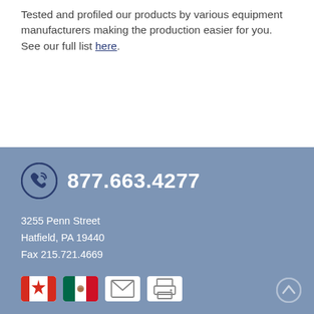Tested and profiled our products by various equipment manufacturers making the production easier for you. See our full list here.
877.663.4277
3255 Penn Street
Hatfield, PA 19440
Fax 215.721.4669
[Figure (infographic): Four icon buttons: Canadian flag, Mexican flag, envelope/email icon, and printer icon]